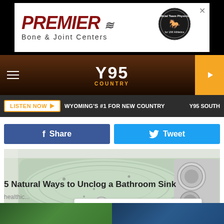[Figure (screenshot): Premier Bone & Joint Centers advertisement banner with logo and official team physician seal]
[Figure (screenshot): Y95 Country radio station navigation bar with hamburger menu, logo, and play button]
LISTEN NOW ▶  WYOMING'S #1 FOR NEW COUNTRY  Y95 SOUTH
[Figure (other): Facebook Share button (blue) and Twitter Tweet button (light blue)]
[Figure (photo): Close-up photo of a bathroom sink filled with standing water showing a clogged drain]
5 Natural Ways to Unclog a Bathroom Sink
healthic...
[Figure (screenshot): Indeed advertisement: You need to raise headcounts without headaches.]